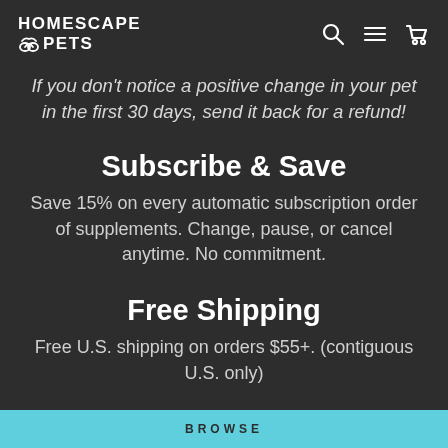HOMESCAPE PETS
If you don't notice a positive change in your pet in the first 30 days, send it back for a refund!
Subscribe & Save
Save 15% on every automatic subscription order of supplements. Change, pause, or cancel anytime. No commitment.
Free Shipping
Free U.S. shipping on orders $55+. (contiguous U.S. only)
BROWSE